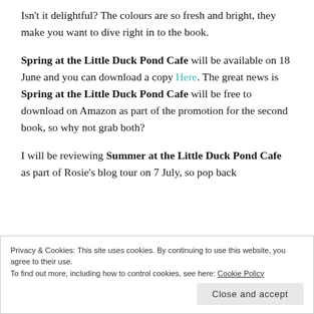Isn't it delightful? The colours are so fresh and bright, they make you want to dive right in to the book.
Spring at the Little Duck Pond Cafe will be available on 18 June and you can download a copy Here. The great news is Spring at the Little Duck Pond Cafe will be free to download on Amazon as part of the promotion for the second book, so why not grab both?
I will be reviewing Summer at the Little Duck Pond Cafe as part of Rosie's blog tour on 7 July, so pop back
Privacy & Cookies: This site uses cookies. By continuing to use this website, you agree to their use.
To find out more, including how to control cookies, see here: Cookie Policy